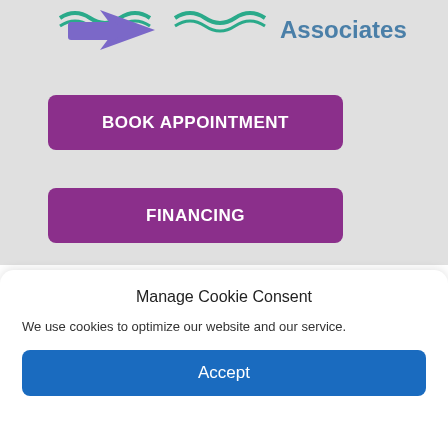[Figure (logo): Logo with blue/purple fish and teal wave design, with 'Associates' text in teal/blue]
BOOK APPOINTMENT
FINANCING
Manage Cookie Consent
We use cookies to optimize our website and our service.
Accept